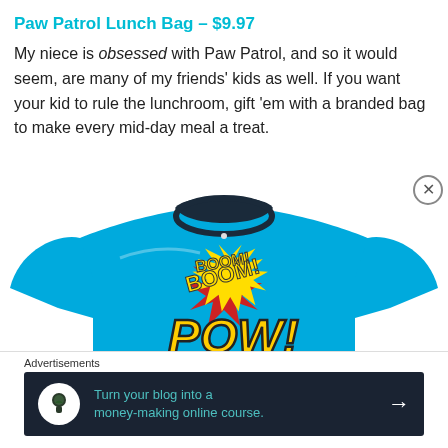Paw Patrol Lunch Bag – $9.97
My niece is obsessed with Paw Patrol, and so it would seem, are many of my friends' kids as well. If you want your kid to rule the lunchroom, gift 'em with a branded bag to make every mid-day meal a treat.
[Figure (photo): Blue children's t-shirt with comic-book style BOOM! POW! graphic printed on the front]
Advertisements
[Figure (screenshot): Advertisement banner: dark navy background with white tree/person icon in circle, teal text reading 'Turn your blog into a money-making online course.' with white arrow on right]